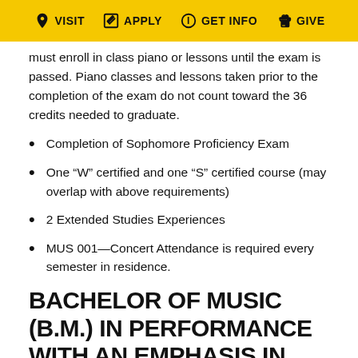VISIT  APPLY  GET INFO  GIVE
must enroll in class piano or lessons until the exam is passed. Piano classes and lessons taken prior to the completion of the exam do not count toward the 36 credits needed to graduate.
Completion of Sophomore Proficiency Exam
One “W” certified and one “S” certified course (may overlap with above requirements)
2 Extended Studies Experiences
MUS 001—Concert Attendance is required every semester in residence.
BACHELOR OF MUSIC (B.M.) IN PERFORMANCE WITH AN EMPHASIS IN